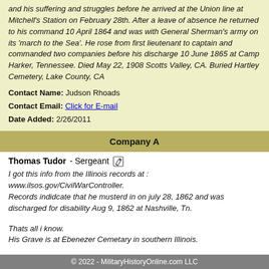and his suffering and struggles before he arrived at the Union line at Mitchell's Station on February 28th. After a leave of absence he returned to his command 10 April 1864 and was with General Sherman's army on its 'march to the Sea'. He rose from first lieutenant to captain and commanded two companies before his discharge 10 June 1865 at Camp Harker, Tennessee. Died May 22, 1908 Scotts Valley, CA. Buried Hartley Cemetery, Lake County, CA
Contact Name:  Judson Rhoads
Contact Email:  Click for E-mail
Date Added:  2/26/2011
Company A
Thomas Tudor - Sergeant
I got this info from the Illinois records at : www.ilsos.gov/CivilWarController.
Records indidcate that he musterd in on july 28, 1862 and was discharged for disability Aug 9, 1862 at Nashville, Tn.

Thats all i know.
His Grave is at Ebenezer Cemetary in southern Illinois.
© 2022 - MilitaryHistoryOnline.com LLC